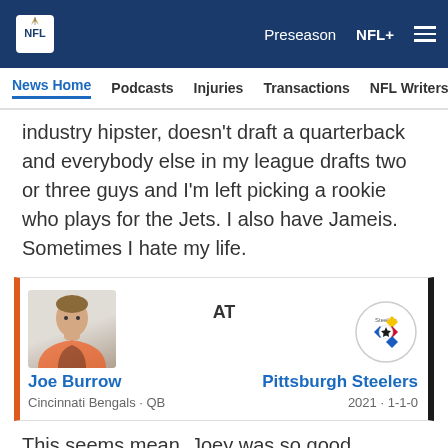NFL — Preseason | NFL+
News Home | Podcasts | Injuries | Transactions | NFL Writers | Se
industry hipster, doesn't draft a quarterback and everybody else in my league drafts two or three guys and I'm left picking a rookie who plays for the Jets. I also have Jameis. Sometimes I hate my life.
[Figure (infographic): Matchup card: Joe Burrow (Cincinnati Bengals QB) AT Pittsburgh Steelers. 2021 · 1-1-0. Left orange border with Bengals player headshot, right dark border with Steelers logo.]
This seems mean. Joey was so good protecting the
[Figure (infographic): Social share icons: Facebook, Twitter, Email, Link]